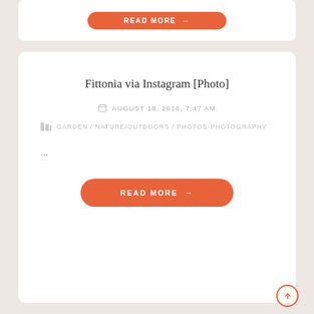[Figure (screenshot): Partial blog card at top with an orange READ MORE button]
Fittonia via Instagram [Photo]
AUGUST 18, 2016, 7:47 AM
GARDEN / NATURE/OUTDOORS / PHOTOS-PHOTOGRAPHY
...
READ MORE →
Olives in the Sicilian Family's Garden via Instagram [Photo]